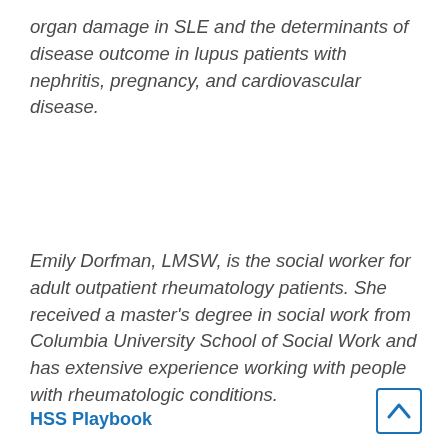organ damage in SLE and the determinants of disease outcome in lupus patients with nephritis, pregnancy, and cardiovascular disease.
Emily Dorfman, LMSW, is the social worker for adult outpatient rheumatology patients. She received a master's degree in social work from Columbia University School of Social Work and has extensive experience working with people with rheumatologic conditions.
HSS Playbook